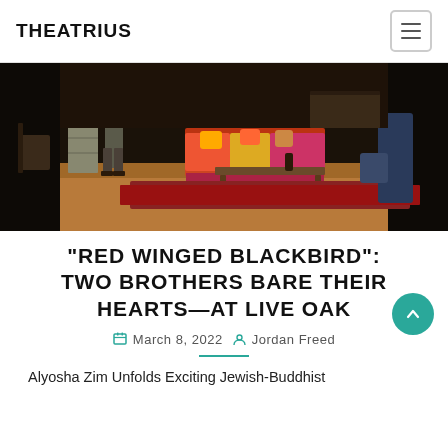THEATRIUS
[Figure (photo): Theater stage scene showing two people, colorful sofa with pillows, coffee table with bottle, wooden floor, dark background]
“RED WINGED BLACKBIRD”: TWO BROTHERS BARE THEIR HEARTS—AT LIVE OAK
March 8, 2022  Jordan Freed
Alyosha Zim Unfolds Exciting Jewish-Buddhist